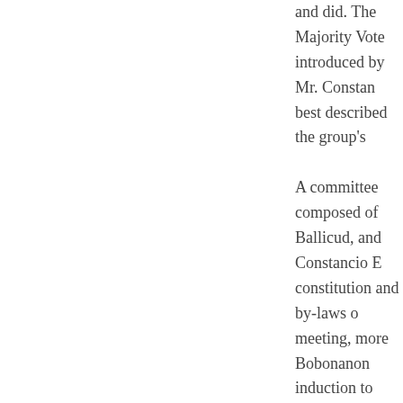and did. The majority vote introduced by Mr. Constan best described the group's A committee composed of Ballicud, and Constancio E constitution and by-laws o meeting, more Bobonanon induction to office of its ne September 26, 1970 with th administering officer. One of the first projects of town plaza which at that ti for horses, carabaos, and president wrote then Bish asking permission to beau then commissioned to pre submitted to the body for